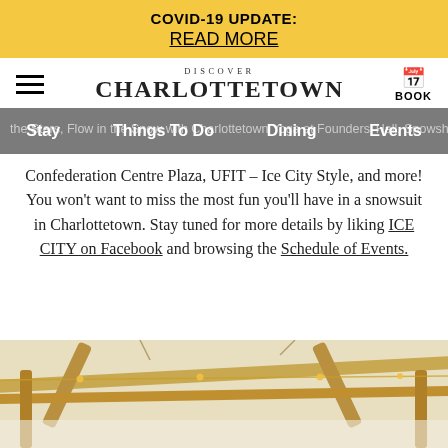COVID-19 UPDATE: READ MORE
[Figure (screenshot): Discover Charlottetown logo with hamburger menu and BOOK button]
the Stars, Flow in the Snow with Charlottetown Yoga at Founders' Hall, Snowshoes A' Park, DJs of Confederation Centre Plaza, UFIT – Ice City Style, and more! You won't want to miss the most fun you'll have in a snowsuit in Charlottetown. Stay tuned for more details by liking ICE CITY on Facebook and browsing the Schedule of Events.
[Figure (photo): Wooden pergola or outdoor structure with string lights, photographed from below]